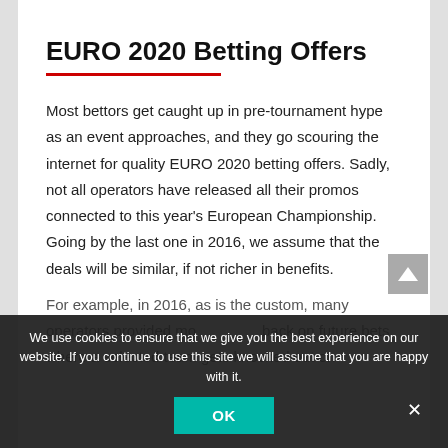EURO 2020 Betting Offers
Most bettors get caught up in pre-tournament hype as an event approaches, and they go scouring the internet for quality EURO 2020 betting offers. Sadly, not all operators have released all their promos connected to this year's European Championship. Going by the last one in 2016, we assume that the deals will be similar, if not richer in benefits.
For example, in 2016, as is the custom, many operators provided money back on future bets where a selected team gets knocked out on
We use cookies to ensure that we give you the best experience on our website. If you continue to use this site we will assume that you are happy with it.